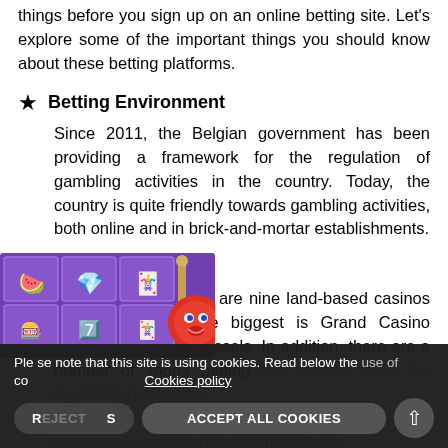As a Belgian gambler, you should take note of certain things before you sign up on an online betting site. Let's explore some of the important things you should know about these betting platforms.
Betting Environment
Since 2011, the Belgian government has been providing a framework for the regulation of gambling activities in the country. Today, the country is quite friendly towards gambling activities, both online and in brick-and-mortar establishments.
Competition
At the moment, there are nine land-based casinos in Belgium, and the biggest is Grand Casino Brussels Viage in Brussels. In addition, there are a number of sports betting [shops across] the country. With the legalization of online [gambling, many] operators have entered the Belgian [market, and the level of competition has significantly he[lped consumers...]
Please note that this site is using cookies. Read below the use of cookies. Cookies policy